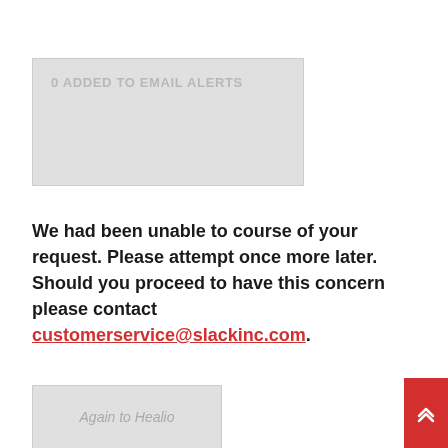[Figure (other): Gray box UI element with text '0 ADDED TO EMAIL ALERTS']
We had been unable to course of your request. Please attempt once more later. Should you proceed to have this concern please contact customerservice@slackinc.com.
[Figure (other): Gray button with italic text 'Again to Healio']
In the US, Indigenous folks have the very best dangers from pure hazards, based on this yr’s Healthiest Communities Rankings report.
The report consists of pure catastrophe threat info for the primary time in response to the “rising risk of local weather